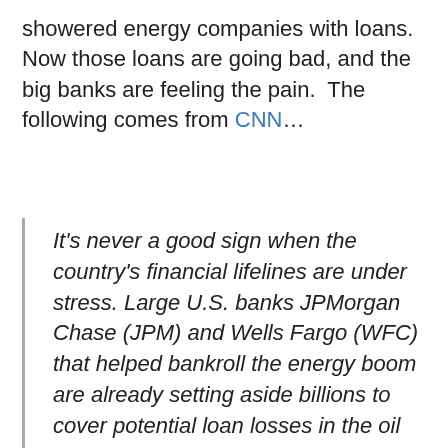showered energy companies with loans. Now those loans are going bad, and the big banks are feeling the pain. The following comes from CNN…
It's never a good sign when the country's financial lifelines are under stress. Large U.S. banks JPMorgan Chase (JPM) and Wells Fargo (WFC) that helped bankroll the energy boom are already setting aside billions to cover potential loan losses in the oil industry. Investors are worried about imploding energy loans for